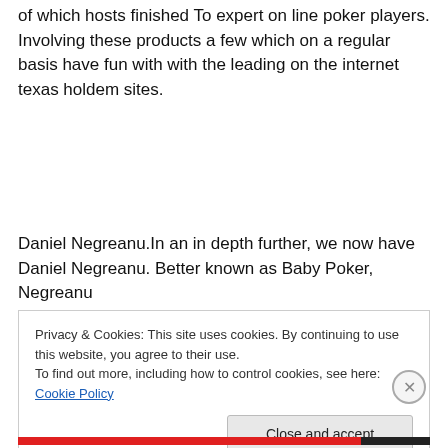of which hosts finished To expert on line poker players. Involving these products a few which on a regular basis have fun with with the leading on the internet texas holdem sites.
Daniel Negreanu.In an in depth further, we now have Daniel Negreanu. Better known as Baby Poker, Negreanu
Privacy & Cookies: This site uses cookies. By continuing to use this website, you agree to their use.
To find out more, including how to control cookies, see here: Cookie Policy
Close and accept